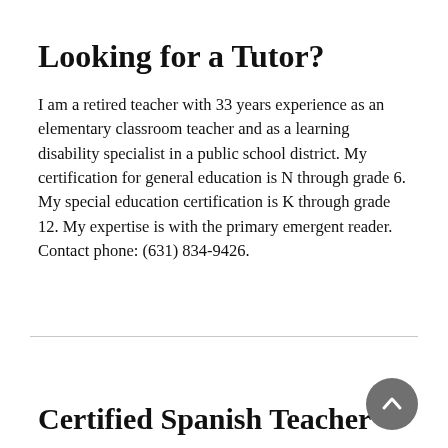Looking for a Tutor?
I am a retired teacher with 33 years experience as an elementary classroom teacher and as a learning disability specialist in a public school district. My certification for general education is N through grade 6. My special education certification is K through grade 12. My expertise is with the primary emergent reader. Contact phone: (631) 834-9426.
Certified Spanish Teacher